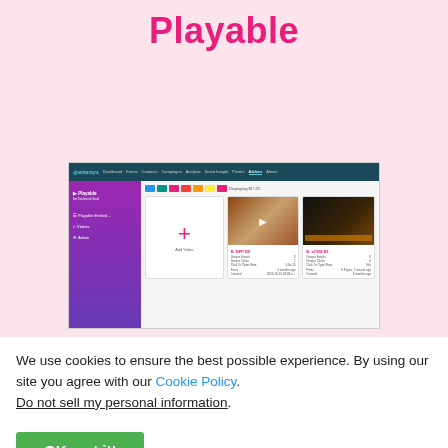Playable
[Figure (screenshot): Screenshot of the Emarsys dashboard showing the Playable integration interface with a sidebar navigation, toolbar, and video content cards including an 'Add Video' card and two video thumbnails with statistics.]
We use cookies to ensure the best possible experience. By using our site you agree with our Cookie Policy. Do not sell my personal information.
OK, got it!